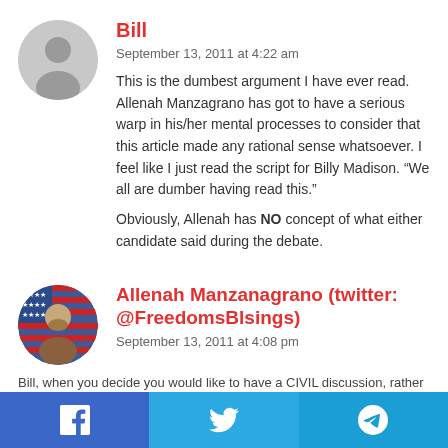[Figure (photo): Gray placeholder avatar circle for user Bill]
Bill
September 13, 2011 at 4:22 am
This is the dumbest argument I have ever read. Allenah Manzagrano has got to have a serious warp in his/her mental processes to consider that this article made any rational sense whatsoever. I feel like I just read the script for Billy Madison. “We all are dumber having read this.”
Obviously, Allenah has NO concept of what either candidate said during the debate.
[Figure (photo): Profile photo of Allenah Manzanagrano, person with facial hair, American flag background]
Allenah Manzanagrano (twitter: @FreedomsBlsings)
September 13, 2011 at 4:08 pm
Bill, when you decide you would like to have a CIVIL discussion, rather